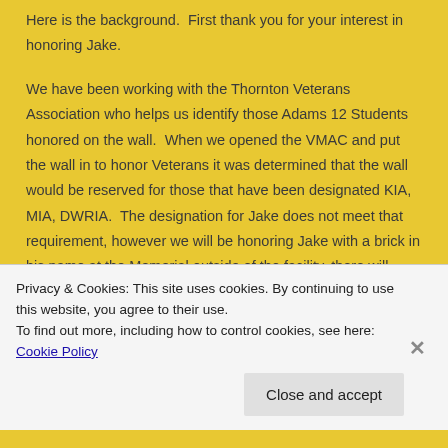Here is the background.  First thank you for your interest in honoring Jake.

We have been working with the Thornton Veterans Association who helps us identify those Adams 12 Students honored on the wall.  When we opened the VMAC and put the wall in to honor Veterans it was determined that the wall would be reserved for those that have been designated KIA, MIA, DWRIA.  The designation for Jake does not meet that requirement, however we will be honoring Jake with a brick in his name at the Memorial outside of the facility, there will
Privacy & Cookies: This site uses cookies. By continuing to use this website, you agree to their use.
To find out more, including how to control cookies, see here: Cookie Policy
Close and accept